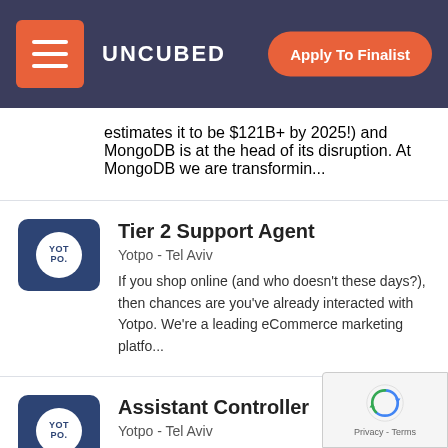UNCUBED | Apply To Finalist
estimates it to be $121B+ by 2025!) and MongoDB is at the head of its disruption. At MongoDB we are transformin...
Tier 2 Support Agent
Yotpo - Tel Aviv
If you shop online (and who doesn't these days?), then chances are you've already interacted with Yotpo. We're a leading eCommerce marketing platfo...
Assistant Controller
Yotpo - Tel Aviv
If you shop online (and who doesn't these